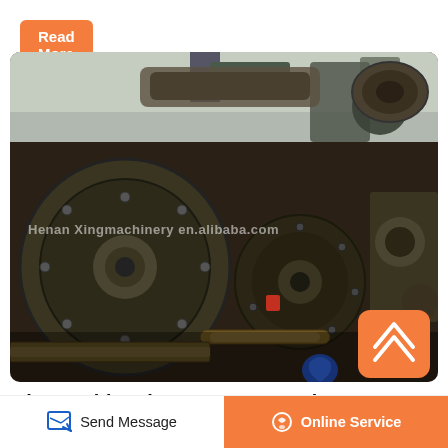Read More
[Figure (photo): Close-up photo of heavy industrial mining machinery — large metal discs, flywheels, and mechanical components, grimy and weathered, with a watermark reading 'Henan Xingmachinery en.alibaba.com' across the middle.]
The World's Biggest Iron Ore Mines
Feb 19, 2014 The Vale-owned Carajas mine in the
Send Message
Online Service